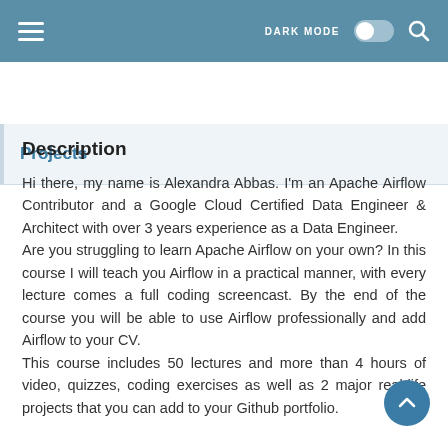DARK MODE [toggle] [search]
Projects
Description
Hi there, my name is Alexandra Abbas. I'm an Apache Airflow Contributor and a Google Cloud Certified Data Engineer & Architect with over 3 years experience as a Data Engineer.
Are you struggling to learn Apache Airflow on your own? In this course I will teach you Airflow in a practical manner, with every lecture comes a full coding screencast. By the end of the course you will be able to use Airflow professionally and add Airflow to your CV.
This course includes 50 lectures and more than 4 hours of video, quizzes, coding exercises as well as 2 major real-life projects that you can add to your Github portfolio.